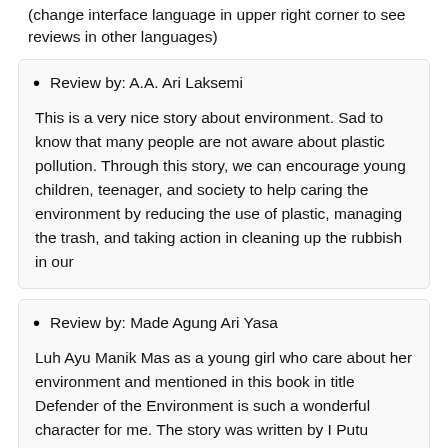(change interface language in upper right corner to see reviews in other languages)
Review by: A.A. Ari Laksemi
This is a very nice story about environment. Sad to know that many people are not aware about plastic pollution. Through this story, we can encourage young children, teenager, and society to help caring the environment by reducing the use of plastic, managing the trash, and taking action in cleaning up the rubbish in our
Review by: Made Agung Ari Yasa
Luh Ayu Manik Mas as a young girl who care about her environment and mentioned in this book in title Defender of the Environment is such a wonderful character for me. The story was written by I Putu Supartika and sponsored by The Asia Foundation's Let's Read Program. It was published by Yayasan Basabali Wiki in 2019.